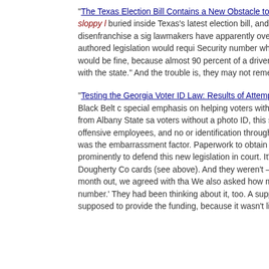"The Texas Election Bill Contains a New Obstacle to Voting" requirement that could—whether by intention or just sloppy l... buried inside Texas's latest election bill, and it's not one of the... the special session. Nonetheless, it could disenfranchise a sig... lawmakers have apparently overlooked a provision that woul... Here's why: The Republican-authored legislation would requi... Security number when applying to vote by mail. That number... Most applicants would be fine, because almost 90 percent of a driver's license number in the database. However, 1.9 million... on file with the state." And the trouble is, they may not remen...
"Testing the Georgia Voter ID Law: Results of Attempt to Ob... Springs from Field PAC began canvassing in the Black Belt c... special emphasis on helping voters without the newly require... voter could use, our intrepid organizers from Albany State sa... voters without a photo ID, this seemed like an obvious place t... knows stories of rude or even offensive employees, and no or... identification through that. In fact, these kids believed that th... have the proper ID was the embarrassment factor. Paperwork... to obtain ID. The offer of a free photo ID that would qualify v... prominently to defend this new legislation in court. It's not an... local county registrar's office. So we asked the Dougherty Co... cards (see above). And they weren't — but the Secretary of St... have the means to be able to. A month out, we agreed with tha... We also asked how many voters on their rolls didn't register v... considerable number.' They had been thinking about it, too. A... supposed to pay for it, knew that they would be getting voters... supposed to provide the funding, because it wasn't like this...